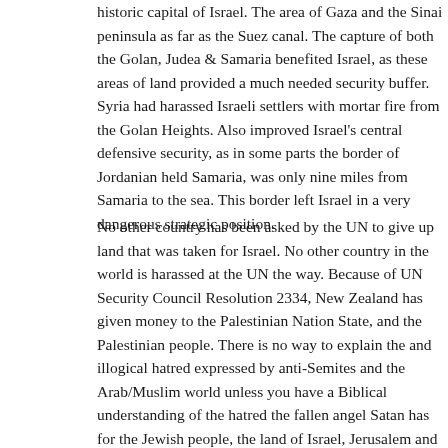historic capital of Israel. The area of Gaza and the Sinai peninsula as far as the Suez canal. The capture of both the Golan, Judea & Samaria benefited Israel, as these areas of land provided a much needed security buffer. Syria had harassed Israeli settlers with mortar fire from the Golan Heights. Also improved Israel's central defensive security, as in some parts the border of Jordanian held Samaria, was only nine miles from Samaria to the sea. This border left Israel in a very dangerous strategic position.
No other country has been asked by the UN to give up land that was taken for Israel. No other country in the world is harassed at the UN the way. Because of UN Security Council Resolution 2334, New Zealand has given money to the Palestinian Nation State, and the Palestinian people. There is no way to explain the and illogical hatred expressed by anti-Semites and the Arab/Muslim world unless you have a Biblical understanding of the hatred the fallen angel Satan has for the Jewish people, the land of Israel, Jerusalem and for Christianity. When you understand he will stop at nothing to destroy these things, you will understand how he is able to manipulate the world against the Jewish people, the land of Israel, and those who stand firmly in his way for achieving his aims in his rebellion ag